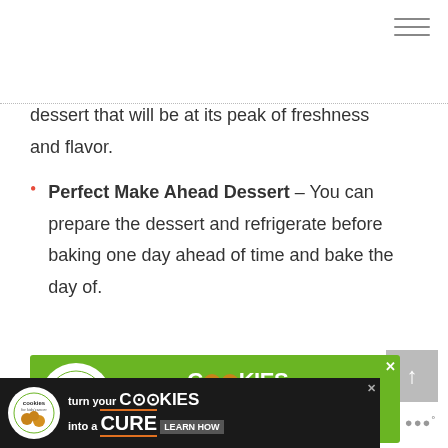dessert that will be at its peak of freshness and flavor.
Perfect Make Ahead Dessert – You can prepare the dessert and refrigerate before baking one day ahead of time and bake the day of.
[Figure (illustration): Green advertisement banner for Cookies for Kids Cancer: 'turn your COOKIES into a CURE LEARN HOW' with cookie logo on left and X close button.]
[Figure (illustration): Black advertisement banner at bottom for Cookies for Kids Cancer: 'turn your COOKIES into a CURE LEARN HOW' with cookie logo on left and X close button, with Weatherbug logo on right.]